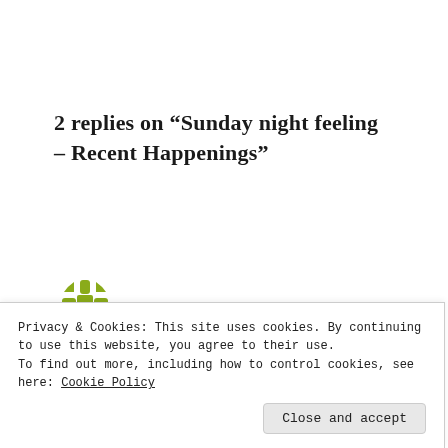2 replies on “Sunday night feeling – Recent Happenings”
[Figure (logo): Olive/yellow-green decorative pinwheel/rosette avatar icon]
Mary Hambleton   12/04/2015 AT 9:38 PM
Privacy & Cookies: This site uses cookies. By continuing to use this website, you agree to their use.
To find out more, including how to control cookies, see here: Cookie Policy
Close and accept